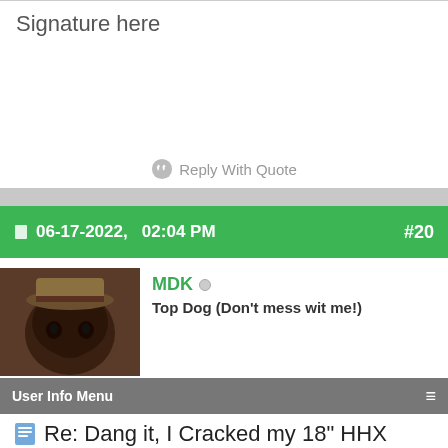Signature here
Reply With Quote
06-17-2022,   02:04 PM   #20
[Figure (photo): Forum user avatar showing a dog (dachshund) wearing a military-style hat]
MDK
Top Dog (Don't mess wit me!)
User Info Menu
Re: Dang it, I Cracked my 18" HHX legacy last night : (
OK OK here she is → Cliging close to home today